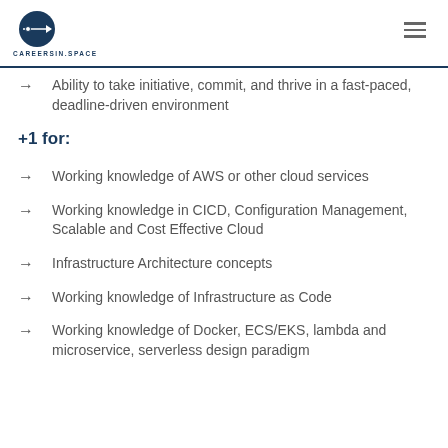CAREERSIN.SPACE
Ability to take initiative, commit, and thrive in a fast-paced, deadline-driven environment
+1 for:
Working knowledge of AWS or other cloud services
Working knowledge in CICD, Configuration Management, Scalable and Cost Effective Cloud
Infrastructure Architecture concepts
Working knowledge of Infrastructure as Code
Working knowledge of Docker, ECS/EKS, lambda and microservice, serverless design paradigm